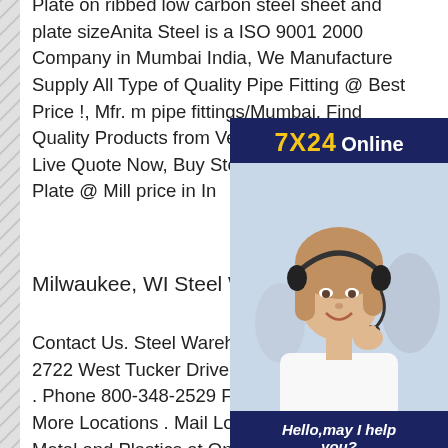Plate on ribbed low carbon steel sheet and plate sizeAnita Steel is a ISO 9001 2000 Company in Mumbai India, We Manufacture Supply All Type of Quality Pipe Fitting @ Best Price !, Mfr. m pipe fittings/Mumbai, Find Quality Products from Verified Manufactu a Live Quote Now, Buy Steel Milc MS Sheet Plate @ Mill price in In
[Figure (photo): Customer service representative with headset, overlaid on dark blue advertisement panel reading '7X24 Online' with 'Hello, may I help you?' and a 'Get Latest Price' button]
Milwaukee, WI Steel Warehouse
Contact Us. Steel Warehouse Headquarters 2722 West Tucker Drive South Bend, IN 46619 . Phone 800-348-2529 Fax 574-236-5154 Find More Locations . Mail LoginOnlineMetals&Buy Metal and Plastics at Online ribbed low carbon steel sheet and plate sizeSave on your Mill Test Reports and Certs of